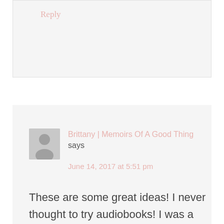Reply
Brittany | Memoirs Of A Good Thing says
June 14, 2017 at 5:51 pm
These are some great ideas! I never thought to try audiobooks! I was a huge Beverly Cleary fan back when I was in school and just ordered some for the kiddos. I bet